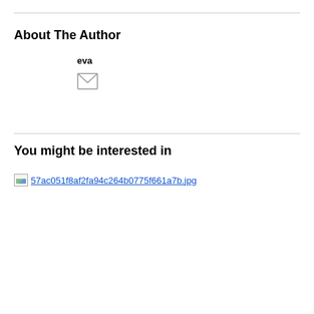About The Author
eva
[Figure (other): Email/envelope icon]
You might be interested in
[Figure (photo): Broken image placeholder for 57ac051f8af2fa94c264b0775f661a7b.jpg]